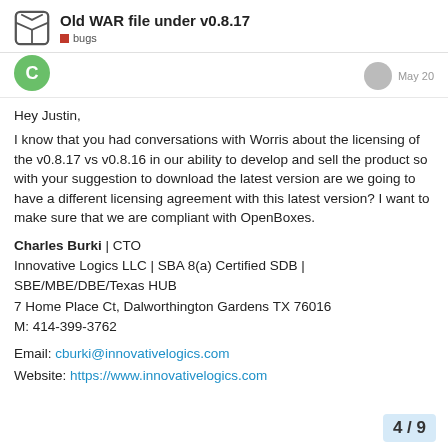Old WAR file under v0.8.17
bugs
Hey Justin,
I know that you had conversations with Worris about the licensing of the v0.8.17 vs v0.8.16 in our ability to develop and sell the product so with your suggestion to download the latest version are we going to have a different licensing agreement with this latest version? I want to make sure that we are compliant with OpenBoxes.
Charles Burki | CTO
Innovative Logics LLC | SBA 8(a) Certified SDB | SBE/MBE/DBE/Texas HUB
7 Home Place Ct, Dalworthington Gardens TX 76016
M: 414-399-3762
Email: cburki@innovativelogics.com
Website: https://www.innovativelogics.com
4 / 9